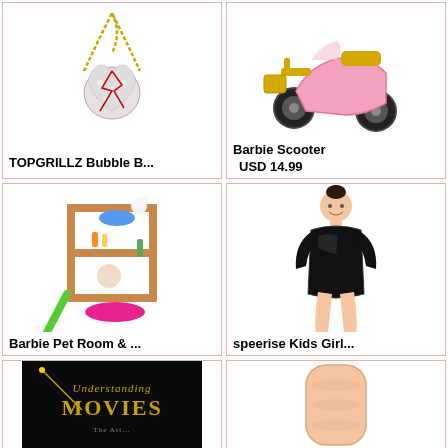[Figure (photo): Gold chain necklace with diamond-studded heart pendant featuring red crack design (TOPGRILLZ)]
TOPGRILLZ Bubble B...
[Figure (photo): Pink and gold Barbie scooter toy]
Barbie Scooter
USD 14.99
[Figure (photo): Barbie pet room playset with dog grooming station, slide, and pink pet bed]
Barbie Pet Room & ...
[Figure (photo): Girl wearing black shiny long-sleeve gymnastics leotard]
speerise Kids Girl...
[Figure (photo): Understanding Movies book cover with dark background and golden title text]
[Figure (photo): Skin-toned adult product item]